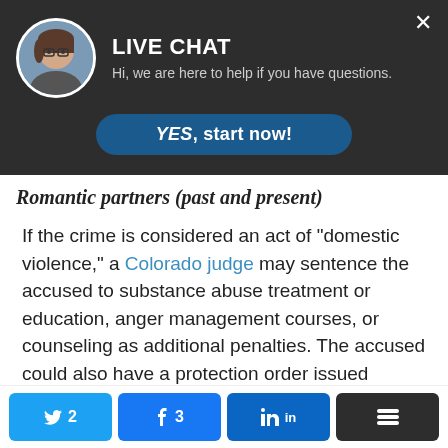[Figure (screenshot): Live chat popup banner with avatar photo of a woman with glasses, LIVE CHAT heading, subtitle text, and a YES start now button on dark background]
Romantic partners (past and present)
If the crime is considered an act of “domestic violence,” a Colorado judge may sentence the accused to substance abuse treatment or education, anger management courses, or counseling as additional penalties. The accused could also have a protection order issued against them, and federal law states that anyone who is convicted of a domestic violence charge – misdemeanor or felony –
[Figure (screenshot): Social sharing bar with Twitter (2), Facebook (3), LinkedIn, and more options buttons]